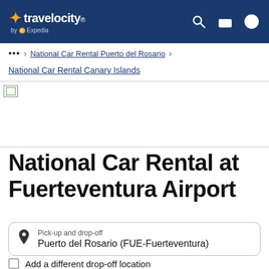Travelocity by Expedia — navigation bar with search, trips, and account icons
... > National Car Rental Puerto del Rosario >
National Car Rental Canary Islands
[Figure (photo): Broken/loading image placeholder for National Car Rental at Fuerteventura Airport]
National Car Rental at Fuerteventura Airport
Pick-up and drop-off
Puerto del Rosario (FUE-Fuerteventura)
Add a different drop-off location